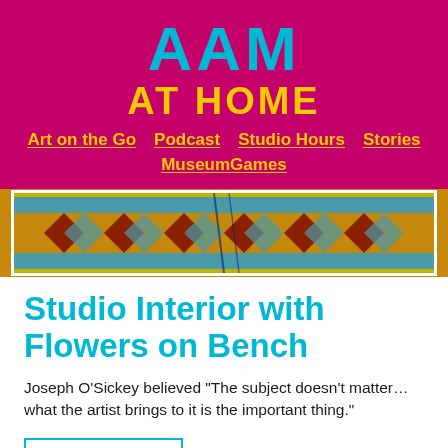AAM AT HOME
Art on the Go
Podcast
Studio Hours
Stories
MuseumGames
[Figure (photo): Decorative tile or mosaic artwork with geometric patterns in brown, blue, yellow and teal colors, shown behind a white border frame]
Studio Interior with Flowers on Bench
Joseph O’Sickey believed “The subject doesn’t matter… what the artist brings to it is the important thing.”
Read More...